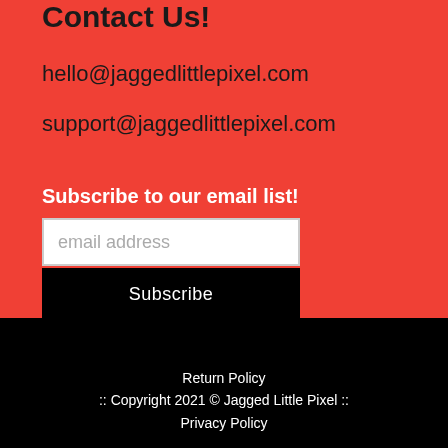Contact Us!
hello@jaggedlittlepixel.com
support@jaggedlittlepixel.com
Subscribe to our email list!
email address
Subscribe
Return Policy
:: Copyright 2021 © Jagged Little Pixel ::
Privacy Policy